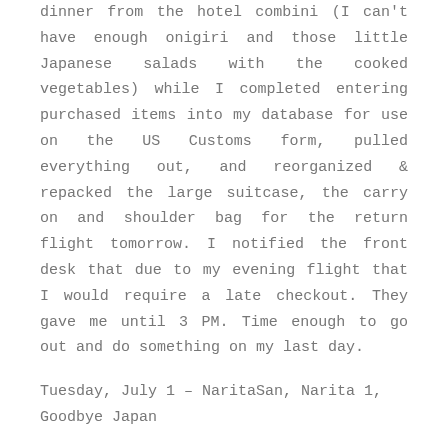dinner from the hotel combini (I can't have enough onigiri and those little Japanese salads with the cooked vegetables) while I completed entering purchased items into my database for use on the US Customs form, pulled everything out, and reorganized & repacked the large suitcase, the carry on and shoulder bag for the return flight tomorrow. I notified the front desk that due to my evening flight that I would require a late checkout. They gave me until 3 PM. Time enough to go out and do something on my last day.
Tuesday, July 1 – NaritaSan, Narita 1, Goodbye Japan
In the morning I went to NaritaSan. Kogushi-Sensei took me there in 2003 & 2005 for a brief visit and I had always wanted to go back on my own. Took the hotel bus to Keisei station, and walked from there. While wandering down a